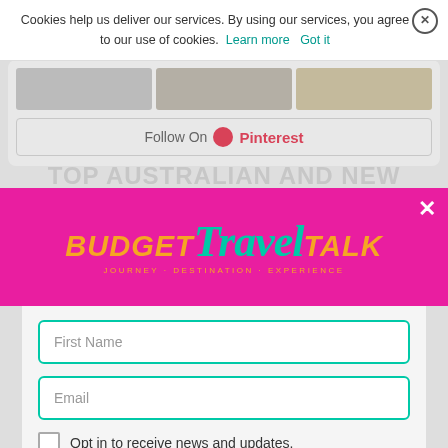Cookies help us deliver our services. By using our services, you agree to our use of cookies. Learn more Got it
[Figure (screenshot): Pinterest follow widget with three thumbnail images and a Follow On Pinterest button]
TOP AUSTRALIAN AND NEW ZEALAND BLOGGER FOR 2017
[Figure (logo): Budget Travel Talk logo banner on magenta/pink background with teal script Travel and orange BUDGET and TALK text]
First Name
Email
Opt in to receive news and updates.
JOIN UP IT'S FREE!